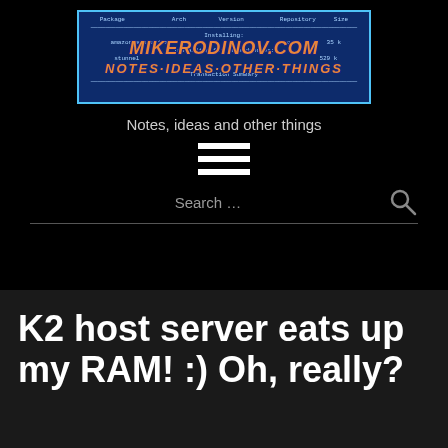[Figure (screenshot): Website banner for mikerodinov.com showing terminal/package manager output in background with orange grunge-style text overlay reading MIKERODINOV.COM and NOTES·IDEAS·OTHER·THINGS on a dark blue background]
Notes, ideas and other things
[Figure (infographic): Hamburger menu icon with three white horizontal bars]
Search ...
K2 host server eats up my RAM! :) Oh, really?